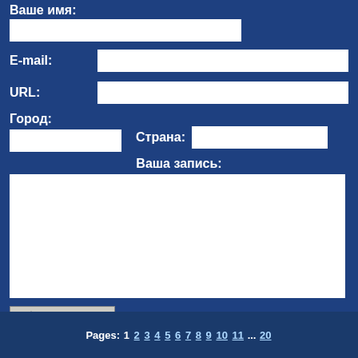Ваше имя:
E-mail:
URL:
Город:
Страна:
Ваша запись:
[Figure (other): CAPTCHA image showing distorted text 'xhu72']
Пожалуйста, заполните все поля! И не нажимайте дважд
Pages: 1 2 3 4 5 6 7 8 9 10 11 ... 20